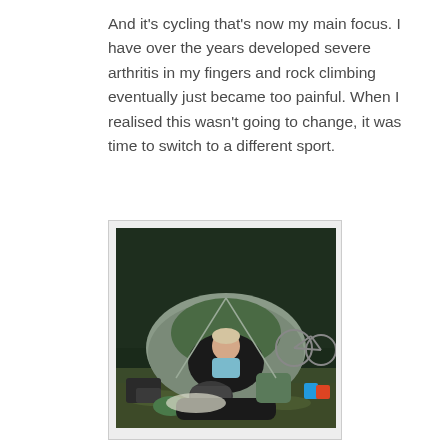And it's cycling that's now my main focus. I have over the years developed severe arthritis in my fingers and rock climbing eventually just became too painful. When I realised this wasn't going to change, it was time to switch to a different sport.
[Figure (photo): A person sitting inside an open green and grey camping tent at night, smiling at the camera. Camping gear, bags, and a bicycle are visible around the tent on grass. Colourful camping cups visible on the right.]